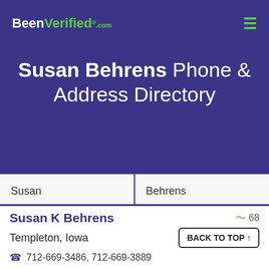BeenVerified.com
Susan Behrens Phone & Address Directory
Susan | Behrens
City | All States
SEARCH
Susan K Behrens   68
Templeton, Iowa
BACK TO TOP ↑
712-669-3486, 712-669-3889